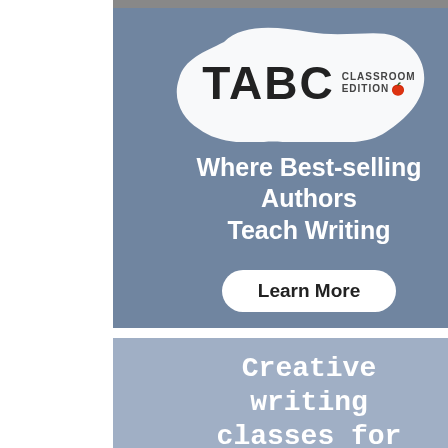[Figure (illustration): TABC Classroom Edition advertisement banner. Dark slate-blue background with a white splash/splatter shape containing the TABC logo and 'CLASSROOM EDITION' text with a red apple icon. Below reads 'Where Best-selling Authors Teach Writing' and a 'Learn More' button.]
[Figure (illustration): Second advertisement banner with light blue-grey background, an X close button in teal, and white text reading 'Creative writing classes for teens!']